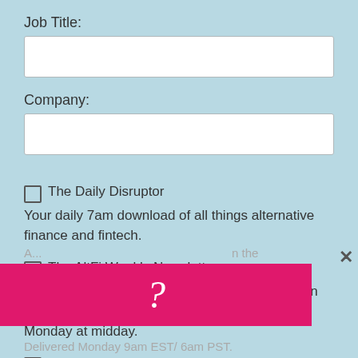Job Title:
Company:
The Daily Disruptor — Your daily 7am download of all things alternative finance and fintech.
The AltFi Weekly Newsletter — Fintech and alternative finance headlines with an exclusive Editor's Note each week. Delivered Monday at midday.
The US Newsletter
A... [partially obscured] ...n the i... ...sector. Delivered Monday 9am EST/ 6am PST.